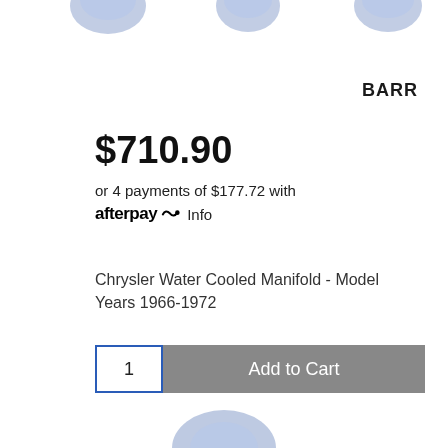[Figure (photo): Partial view of blue marine water-cooled manifold parts at the top of the page]
[Figure (logo): BARR brand logo in bold black text]
$710.90
or 4 payments of $177.72 with afterpay Info
Chrysler Water Cooled Manifold - Model Years 1966-1972
1  Add to Cart
[Figure (photo): Partial view of blue marine water-cooled manifold part at the bottom of the page]